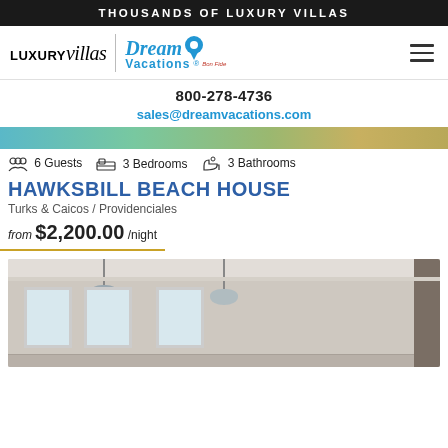THOUSANDS OF LUXURY VILLAS
[Figure (logo): LUXURYvillas | Dream Vacations logo with hamburger menu icon]
800-278-4736
sales@dreamvacations.com
[Figure (photo): Partial property exterior image strip (beach/tropical scene)]
6 Guests  3 Bedrooms  3 Bathrooms
HAWKSBILL BEACH HOUSE
Turks & Caicos / Providenciales
from $2,200.00 /night
[Figure (photo): Interior room photo showing white walls, large windows, pendant lights and decorative molding]